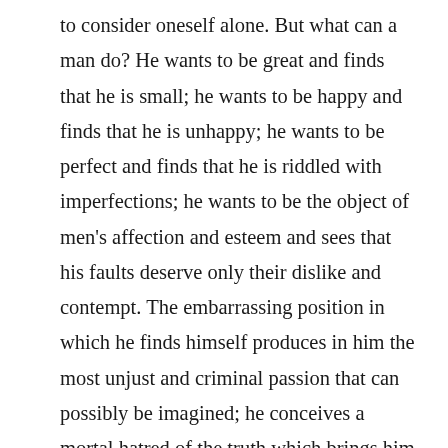to consider oneself alone. But what can a man do? He wants to be great and finds that he is small; he wants to be happy and finds that he is unhappy; he wants to be perfect and finds that he is riddled with imperfections; he wants to be the object of men's affection and esteem and sees that his faults deserve only their dislike and contempt. The embarrassing position in which he finds himself produces in him the most unjust and criminal passion that can possibly be imagined; he conceives a mortal hatred of the truth which brings him down to earth and convinces him